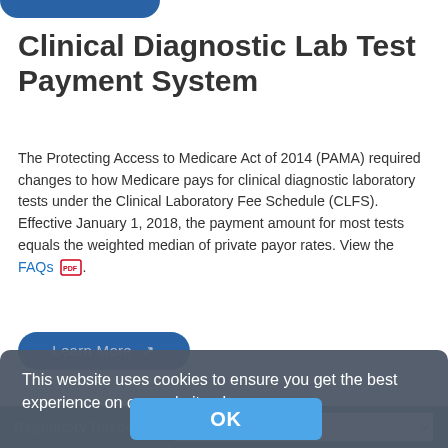Clinical Diagnostic Lab Test Payment System
The Protecting Access to Medicare Act of 2014 (PAMA) required changes to how Medicare pays for clinical diagnostic laboratory tests under the Clinical Laboratory Fee Schedule (CLFS). Effective January 1, 2018, the payment amount for most tests equals the weighted median of private payor rates. View the FAQs .
Learn More
This website uses cookies to ensure you get the best experience on our website. Learn more
OK
Regulatory Resources    Jump to page...